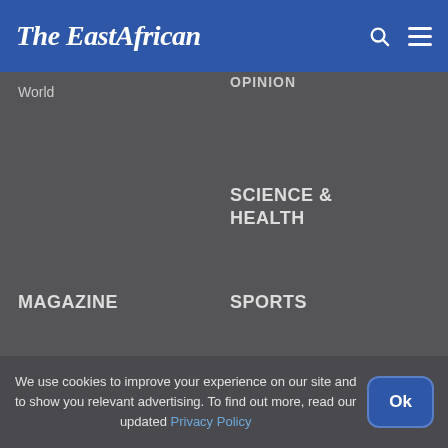The EastAfrican
World
OPINION
SCIENCE & HEALTH
MAGAZINE
SPORTS
REST OF AFRICA
KUSI IDEAS
We use cookies to improve your experience on our site and to show you relevant advertising. To find out more, read our updated Privacy Policy